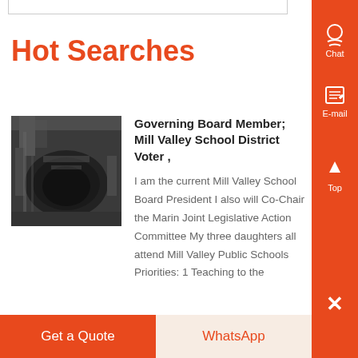Hot Searches
[Figure (photo): Industrial machinery photo showing large metal components, viewed from below]
Governing Board Member; Mill Valley School District Voter ,
I am the current Mill Valley School Board President I also will Co-Chair the Marin Joint Legislative Action Committee My three daughters all attend Mill Valley Public Schools Priorities: 1 Teaching to the